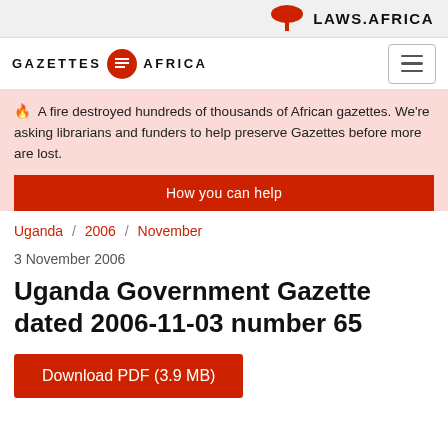LAWS.AFRICA
[Figure (logo): Gazettes Africa logo with red circular icon and hamburger menu button]
🔥  A fire destroyed hundreds of thousands of African gazettes. We're asking librarians and funders to help preserve Gazettes before more are lost.
How you can help
Uganda  /  2006  /  November
3 November 2006
Uganda Government Gazette dated 2006-11-03 number 65
Download PDF (3.9 MB)